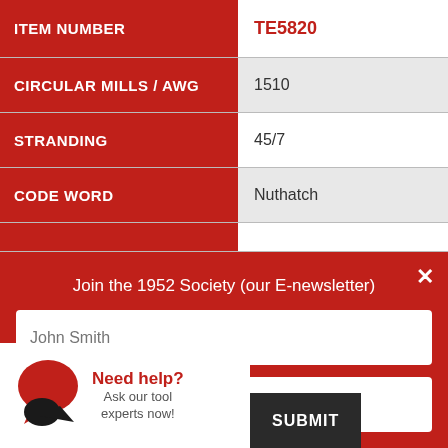| Property | Value |
| --- | --- |
| ITEM NUMBER | TE5820 |
| CIRCULAR MILLS / AWG | 1510 |
| STRANDING | 45/7 |
| CODE WORD | Nuthatch |
Join the 1952 Society (our E-newsletter)
John Smith
Need help? Ask our tool experts now!
SUBMIT